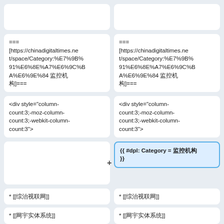===
[https://chinadigitaltimes.net/space/Category:%E7%9B%91%E6%8E%A7%E6%9C%BA%E6%9E%84 监控机构]===
===
[https://chinadigitaltimes.net/space/Category:%E7%9B%91%E6%8E%A7%E6%9C%BA%E6%9E%84 监控机构]===
<div style="column-count:3;-moz-column-count:3;-webkit-column-count:3">
<div style="column-count:3;-moz-column-count:3;-webkit-column-count:3">
{{ #dpl: Category = 监控机构 }}
* [[综治视联网]]
* [[综治视联网]]
* [[网宇实体系统]]
* [[网宇实体系统]]
line 45
line 50